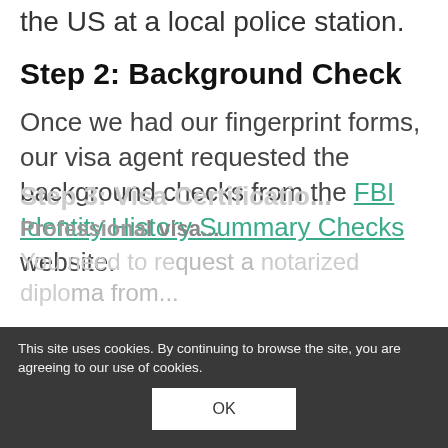the US at a local police station.
Step 2: Background Check
Once we had our fingerprint forms, our visa agent requested the background checks from the FBI Identity History Summary Checks website.
Step 3: Visa Certification...
Professional visa...
You need to request a notarized diploma from...
This site uses cookies. By continuing to browse the site, you are agreeing to our use of cookies.